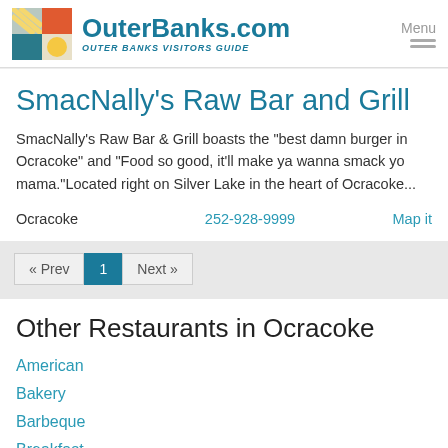OuterBanks.com Visitors Guide
SmacNally's Raw Bar and Grill
SmacNally's Raw Bar & Grill boasts the "best damn burger in Ocracoke" and "Food so good, it'll make ya wanna smack yo mama."Located right on Silver Lake in the heart of Ocracoke...
Ocracoke   252-928-9999   Map it
« Prev  1  Next »
Other Restaurants in Ocracoke
American
Bakery
Barbeque
Breakfast